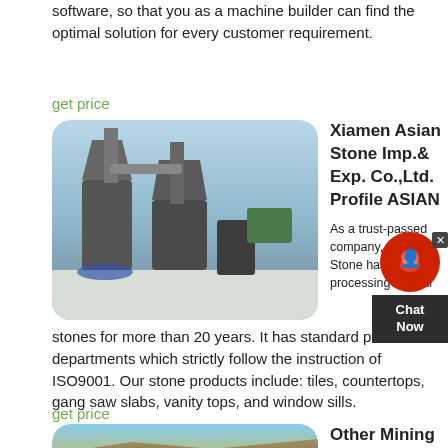software, so that you as a machine builder can find the optimal solution for every customer requirement.
get price
[Figure (photo): Industrial milling machines / grinding equipment with pipes and silos outdoors in winter setting]
Xiamen Asian Stone Imp.& Exp. Co.,Ltd. Profile ASIAN
As a trust-passed company, Asian Stone has been in processing natural stones for more than 20 years. It has standard production departments which strictly follow the instruction of ISO9001. Our stone products include: tiles, countertops, gang saw slabs, vanity tops, and window sills.
get price
[Figure (photo): Mining quarry with excavation equipment and conveyor belt on a rocky hillside]
Other Mining Machinery Made-In-China